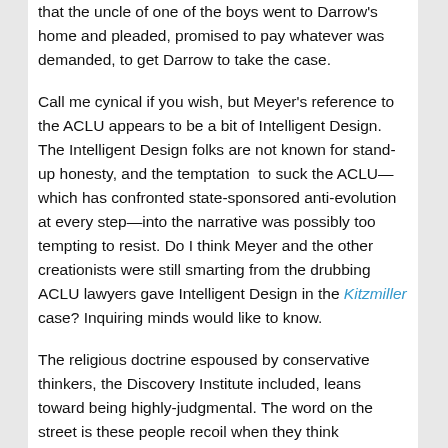that the uncle of one of the boys went to Darrow's home and pleaded, promised to pay whatever was demanded, to get Darrow to take the case.
Call me cynical if you wish, but Meyer's reference to the ACLU appears to be a bit of Intelligent Design. The Intelligent Design folks are not known for stand-up honesty, and the temptation to suck the ACLU—which has confronted state-sponsored anti-evolution at every step—into the narrative was possibly too tempting to resist. Do I think Meyer and the other creationists were still smarting from the drubbing ACLU lawyers gave Intelligent Design in the Kitzmiller case? Inquiring minds would like to know.
The religious doctrine espoused by conservative thinkers, the Discovery Institute included, leans toward being highly-judgmental. The word on the street is these people recoil when they think somebody is having too much fun. "The Kinsey Reports" refers to two volumes published in 1948 and 1953 and based on interviews with a few thousands of subjects.